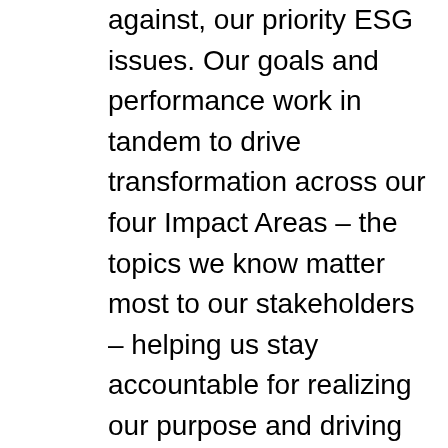against, our priority ESG issues. Our goals and performance work in tandem to drive transformation across our four Impact Areas – the topics we know matter most to our stakeholders – helping us stay accountable for realizing our purpose and driving meaningful impact. Within these Impact Areas we have established strategies, goals, policies and performance indicators to manage our performance.